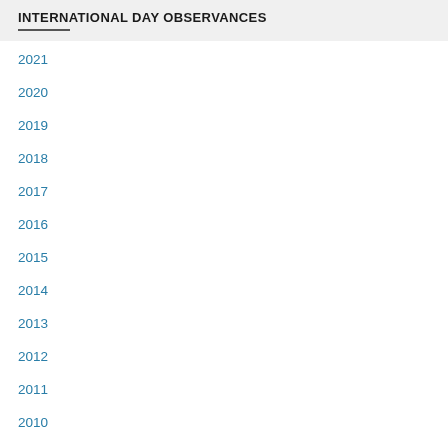INTERNATIONAL DAY OBSERVANCES
2021
2020
2019
2018
2017
2016
2015
2014
2013
2012
2011
2010
2009